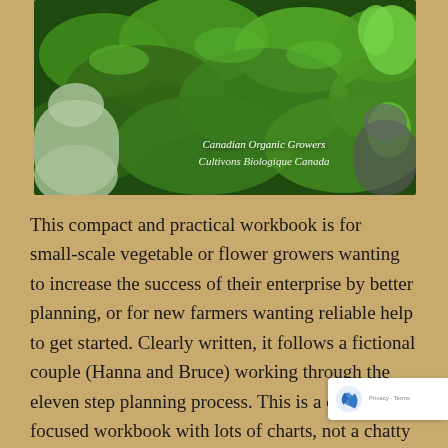[Figure (photo): Photograph of people tending to leafy green vegetable crops in a garden, with overlay text reading 'Canadian Organic Growers / Cultivons Biologique Canada']
This compact and practical workbook is for small-scale vegetable or flower growers wanting to increase the success of their enterprise by better planning, or for new farmers wanting reliable help to get started. Clearly written, it follows a fictional couple (Hanna and Bruce) working through the eleven step planning process. This is a concise focused workbook with lots of charts, not a chatty bedtime read. But for small-scale farmers, this won't be a dry book. As well as the excitement...